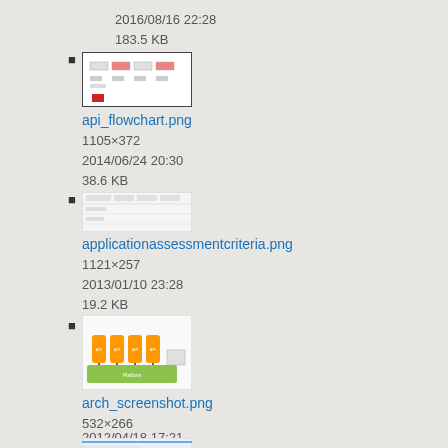2016/08/16 22:28
183.5 KB
[Figure (screenshot): Thumbnail of api_flowchart.png showing a flowchart with colored bars on white background]
api_flowchart.png
1105×372
2014/06/24 20:30
38.6 KB
[Figure (screenshot): Thumbnail of applicationassessmentcriteria.png showing a table/criteria view]
applicationassessmentcriteria.png
1121×257
2013/01/10 23:28
19.2 KB
[Figure (screenshot): Thumbnail of arch_screenshot.png showing green architecture boxes with arrows]
arch_screenshot.png
532×266
2012/04/18 17:21
20.8 KB
[Figure (screenshot): Partial thumbnail visible at bottom of page]